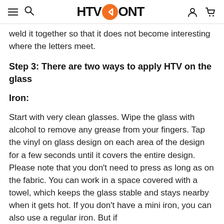HTV RONT
weld it together so that it does not become interesting where the letters meet.
Step 3: There are two ways to apply HTV on the glass
Iron:
Start with very clean glasses. Wipe the glass with alcohol to remove any grease from your fingers. Tap the vinyl on glass design on each area of the design for a few seconds until it covers the entire design. Please note that you don't need to press as long as on the fabric. You can work in a space covered with a towel, which keeps the glass stable and stays nearby when it gets hot. If you don't have a mini iron, you can also use a regular iron. But if